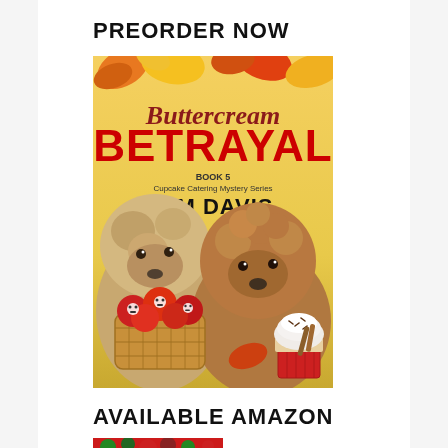PREORDER NOW
[Figure (illustration): Book cover for 'Buttercream Betrayal' by Kim Davis. Book 5 of the Cupcake Catering Mystery Series. Features two fluffy dogs (a Labradoodle and a poodle), a basket of red apples with skull and crossbones symbols, autumn leaves, and a cupcake with white frosting on a red wrapper.]
AVAILABLE AMAZON
[Figure (illustration): Partial view of another book cover, partially cut off at the bottom of the page, with a red and green holiday theme.]